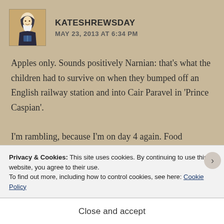KATESHREWSDAY
MAY 23, 2013 AT 6:34 PM
Apples only. Sounds positively Narnian: that's what the children had to survive on when they bumped off an English railway station and into Cair Paravel in 'Prince Caspian'.
I'm rambling, because I'm on day 4 again. Food tomorrow. Now. The Monks diet consisted of things
Privacy & Cookies: This site uses cookies. By continuing to use this website, you agree to their use.
To find out more, including how to control cookies, see here: Cookie Policy
Close and accept